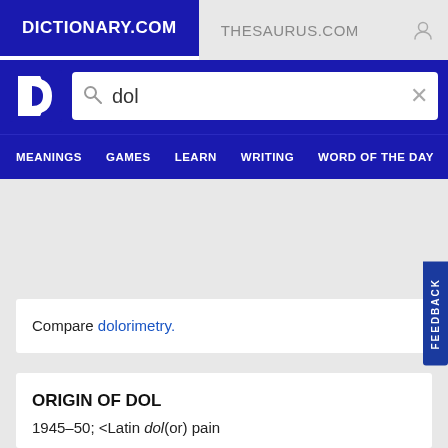DICTIONARY.COM | THESAURUS.COM
[Figure (screenshot): Dictionary.com logo: white D with notch on blue background]
dol
MEANINGS | GAMES | LEARN | WRITING | WORD OF THE DAY
Compare dolorimetry.
ORIGIN OF DOL
1945–50; <Latin dol(or) pain